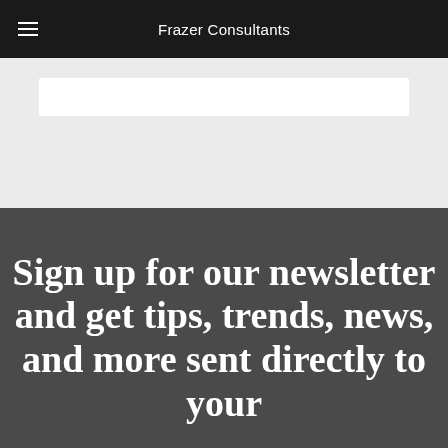Frazer Consultants
[Figure (other): Search input box on light gray background]
Sign up for our newsletter and get tips, trends, news, and more sent directly to your